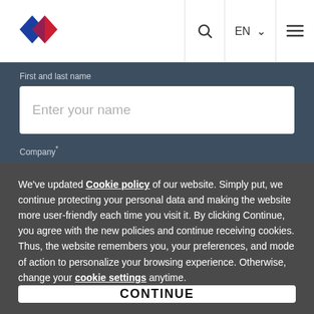[Figure (logo): Company logo with blue and red diamond shapes]
First and last name
Enter your name
Company*
We've updated Cookie policy of our website. Simply put, we continue protecting your personal data and making the website more user-friendly each time you visit it. By clicking Continue, you agree with the new policies and continue receiving cookies. Thus, the website remembers you, your preferences, and mode of action to personalize your browsing experience. Otherwise, change your cookie settings anytime.
CONTINUE